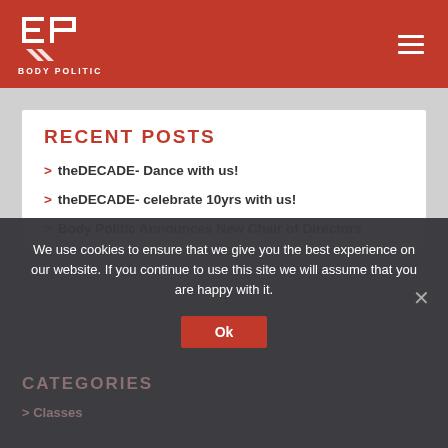BODY POLITIC
RECENT POSTS
> theDECADE- Dance with us!
> theDECADE- celebrate 10yrs with us!
> Body Politic Announces New Chair of Directors
> Dance Leadership Award
> Father Figurine Residency is ‘nerve-wracking and thrilling!’
We use cookies to ensure that we give you the best experience on our website. If you continue to use this site we will assume that you are happy with it.
CATEGORIES
> Classes